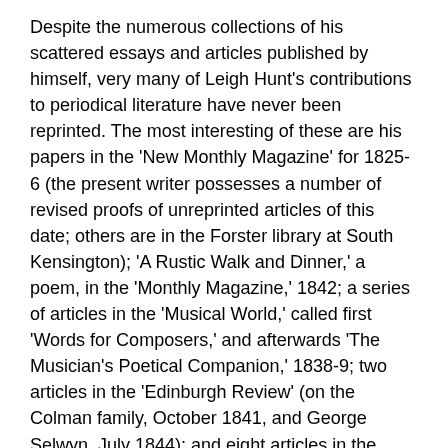Despite the numerous collections of his scattered essays and articles published by himself, very many of Leigh Hunt's contributions to periodical literature have never been reprinted. The most interesting of these are his papers in the 'New Monthly Magazine' for 1825-6 (the present writer possesses a number of revised proofs of unreprinted articles of this date; others are in the Forster library at South Kensington); 'A Rustic Walk and Dinner,' a poem, in the 'Monthly Magazine,' 1842; a series of articles in the 'Musical World,' called first 'Words for Composers,' and afterwards 'The Musician's Poetical Companion,' 1838-9; two articles in the 'Edinburgh Review' (on the Colman family, October 1841, and George Selwyn, July 1844); and eight articles in the 'Musical Times,' 1853-4.
His son Thornton [q.v.] bequeathed some unpublished manuscript by his father to Mr. Townshend Mayer, but none of it was of sufficient importance to present...